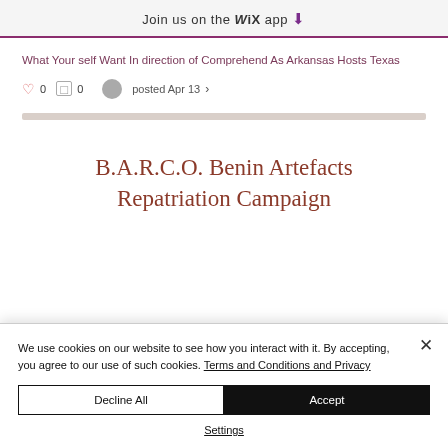Join us on the WiX app ⬇
What Your self Want In direction of Comprehend As Arkansas Hosts Texas
♡ 0  □ 0   posted Apr 13 ›
B.A.R.C.O. Benin Artefacts Repatriation Campaign
We use cookies on our website to see how you interact with it. By accepting, you agree to our use of such cookies. Terms and Conditions and Privacy
Decline All    Accept
Settings